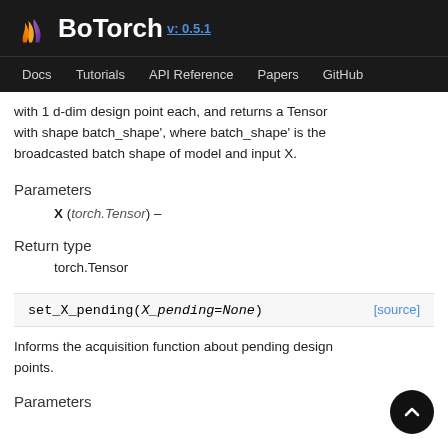BoTorch v: 0.5.1 — Docs  Tutorials  API Reference  Papers  GitHub
with 1 d-dim design point each, and returns a Tensor with shape batch_shape', where batch_shape' is the broadcasted batch shape of model and input X.
Parameters
X (torch.Tensor) –
Return type
torch.Tensor
set_X_pending(X_pending=None)
Informs the acquisition function about pending design points.
Parameters